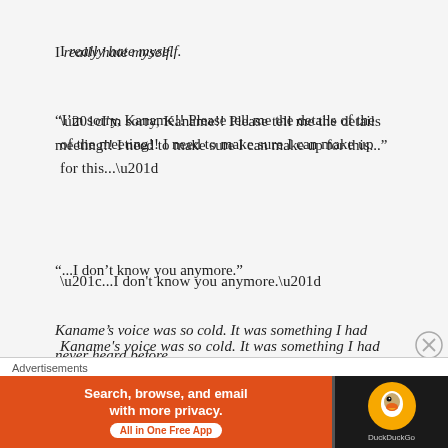I really hate myself.
“I’m sorry, Kaname!! Please tell me the details of the meeting!! I need to make sure I can make up for this...”
“...I don’t know you anymore.”
Kaname’s voice was so cold. It was something I had never heard before.
“I don’t know any stupid woman who flirts with another man, all the while skipping an important
[Figure (screenshot): DuckDuckGo advertisement banner with orange background reading 'Search, browse, and email with more privacy. All in One Free App' and DuckDuckGo logo on dark background]